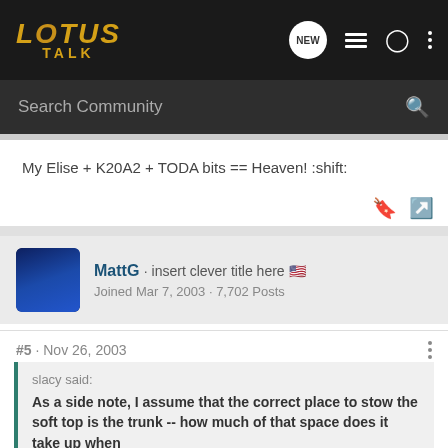LOTUS TALK
My Elise + K20A2 + TODA bits == Heaven! :shift:
[Figure (photo): User avatar photo of MattG showing a blue car]
MattG · insert clever title here 🇺🇸
Joined Mar 7, 2003 · 7,702 Posts
#5 · Nov 26, 2003
slacy said:
As a side note, I assume that the correct place to stow the soft top is the trunk -- how much of that space does it take up when